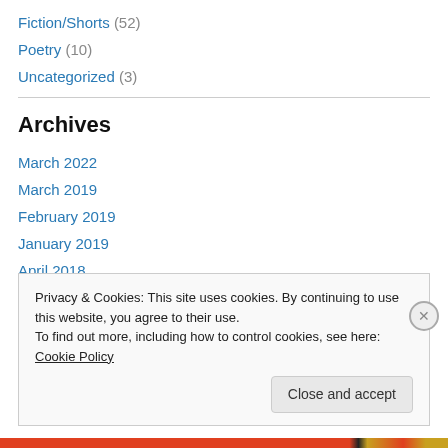Fiction/Shorts (52)
Poetry (10)
Uncategorized (3)
Archives
March 2022
March 2019
February 2019
January 2019
April 2018
February 2018
Privacy & Cookies: This site uses cookies. By continuing to use this website, you agree to their use. To find out more, including how to control cookies, see here: Cookie Policy
Close and accept